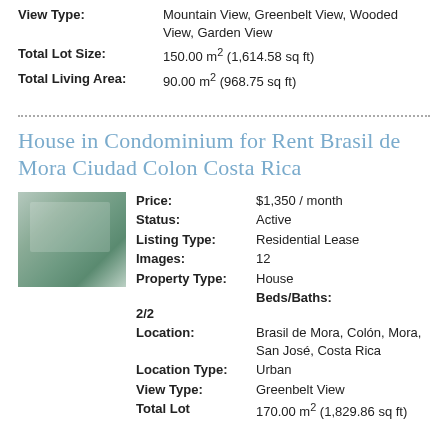View Type: Mountain View, Greenbelt View, Wooded View, Garden View
Total Lot Size: 150.00 m² (1,614.58 sq ft)
Total Living Area: 90.00 m² (968.75 sq ft)
House in Condominium for Rent Brasil de Mora Ciudad Colon Costa Rica
[Figure (photo): Interior photo of a house showing dining/living area with green tones]
Price: $1,350 / month
Status: Active
Listing Type: Residential Lease
Images: 12
Property Type: House  Beds/Baths: 2/2
Location: Brasil de Mora, Colón, Mora, San José, Costa Rica
Location Type: Urban
View Type: Greenbelt View
Total Lot 170.00 m² (1,829.86 sq ft)